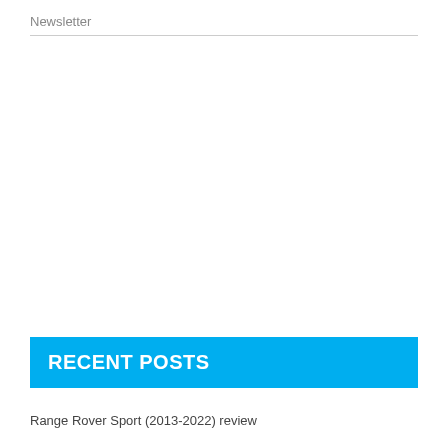Newsletter
RECENT POSTS
Range Rover Sport (2013-2022) review